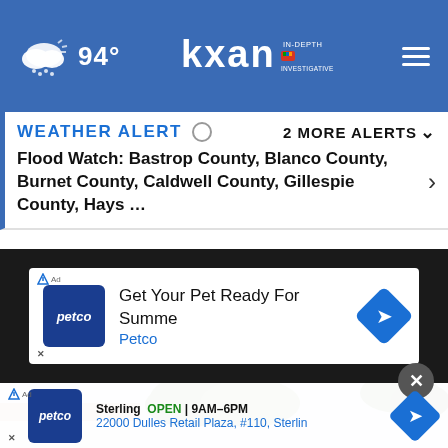94° kxan IN-DEPTH INVESTIGATIVE
WEATHER ALERT ○   2 MORE ALERTS ∨
Flood Watch: Bastrop County, Blanco County, Burnet County, Caldwell County, Gillespie County, Hays …
[Figure (screenshot): Petco advertisement banner: Get Your Pet Ready For Summe / Petco]
[Figure (photo): Outdoor photo showing trees and rooftop of a house against a light blue sky]
[Figure (screenshot): Petco advertisement banner: Sterling OPEN | 9AM-6PM / 22000 Dulles Retail Plaza, #110, Sterlin]